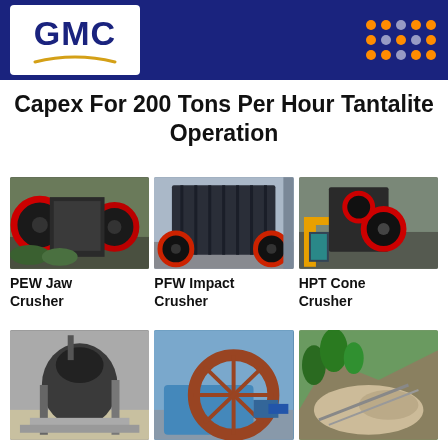[Figure (logo): GMC company logo on dark blue header bar with orange dot grid pattern]
Capex For 200 Tons Per Hour Tantalite Operation
[Figure (photo): PEW Jaw Crusher industrial machinery photo]
[Figure (photo): PFW Impact Crusher industrial machinery photo]
[Figure (photo): HPT Cone Crusher industrial machinery photo]
PEW Jaw Crusher
PFW Impact Crusher
HPT Cone Crusher
[Figure (photo): Cone/VSI crusher machinery photo]
[Figure (photo): Sand washing machine / wheel washer photo]
[Figure (photo): Open pit mining / quarry site aerial photo]